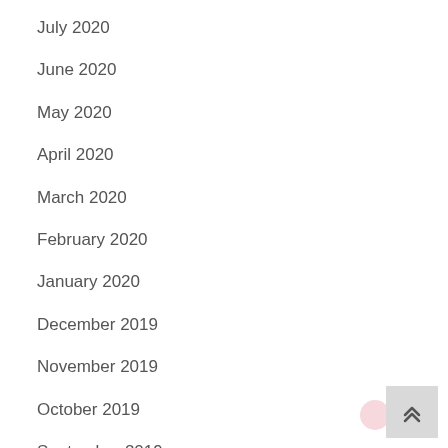July 2020
June 2020
May 2020
April 2020
March 2020
February 2020
January 2020
December 2019
November 2019
October 2019
September 2019
August 2019
July 2019